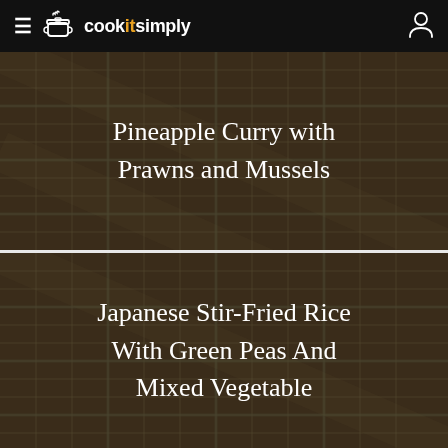cookitsimply
Pineapple Curry with Prawns and Mussels
Japanese Stir-Fried Rice With Green Peas And Mixed Vegetable